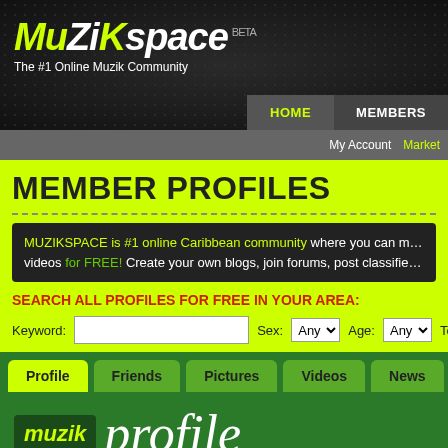MuZiKspace BETA — The #1 Online Muzik Community
HOME   MEMBERS
My Account   Market
MEMBER PROFILES
MUZIKSPACE is #1 online Caribbean community where you can m... videos for FREE! Create your own blogs, join forums, post classifie...
SEARCH ALL PROFILES FOR FREE IN YOUR AREA:
Keyword:  Sex: Any  Age: Any  To:
Profile
Friends
Pictures
Videos
News
muzik profile